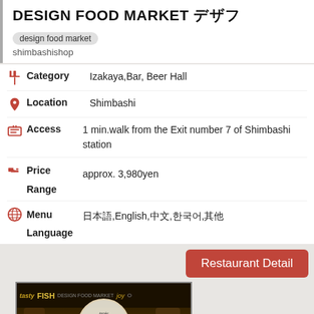DESIGN FOOD MARKET デザイン フードマーケット  design food market  shimbashishop
Category: Izakaya,Bar, Beer Hall
Location: Shimbashi
Access: 1 min.walk from the Exit number 7 of Shimbashi station
Price Range: approx. 3,980yen
Menu Language: 日本語,English,中文,한국어,其他
Restaurant Detail
[Figure (photo): Interior photo of Design Food Market restaurant showing food display counter with circular logo badge reading 個室 肉バル VS 魚バル, warm lighting, chalk-style menu board with FISH and other text, fresh produce display at bottom.]